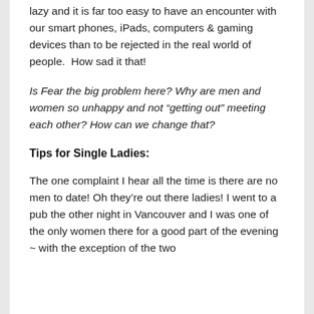lazy and it is far too easy to have an encounter with our smart phones, iPads, computers & gaming devices than to be rejected in the real world of people.  How sad it that!
Is Fear the big problem here? Why are men and women so unhappy and not “getting out” meeting each other? How can we change that?
Tips for Single Ladies:
The one complaint I hear all the time is there are no men to date! Oh they’re out there ladies! I went to a pub the other night in Vancouver and I was one of the only women there for a good part of the evening ~ with the exception of the two